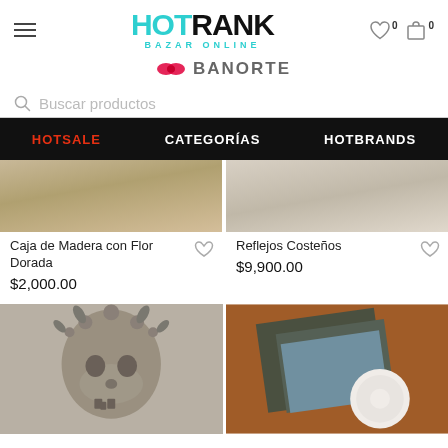[Figure (logo): HotRank Bazar Online logo with teal HOT and black RANK text]
[Figure (logo): Banorte bank logo with red/pink bowtie icon and BANORTE text]
Buscar productos
HOTSALE    CATEGORÍAS    HOTBRANDS
Caja de Madera con Flor Dorada
$2,000.00
Reflejos Costeños
$9,900.00
[Figure (photo): Clay skull sculpture decorated with flowers]
[Figure (photo): Decorative boxes with plate arrangement]